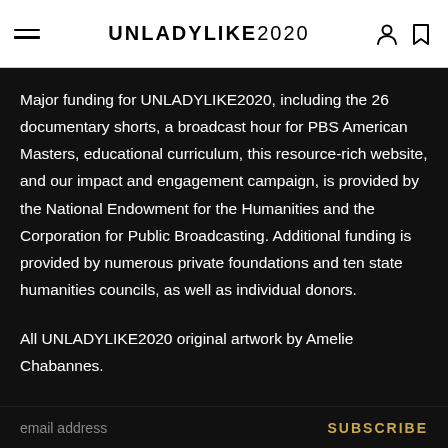UNLADYLIKE2020
Major funding for UNLADYLIKE2020, including the 26 documentary shorts, a broadcast hour for PBS American Masters, educational curriculum, this resource-rich website, and our impact and engagement campaign, is provided by the National Endowment for the Humanities and the Corporation for Public Broadcasting. Additional funding is provided by numerous private foundations and ten state humanities councils, as well as individual donors.
All UNLADYLIKE2020 original artwork by Amelie Chabannes.
JOIN OUR NEWSLETTER
email address   SUBSCRIBE